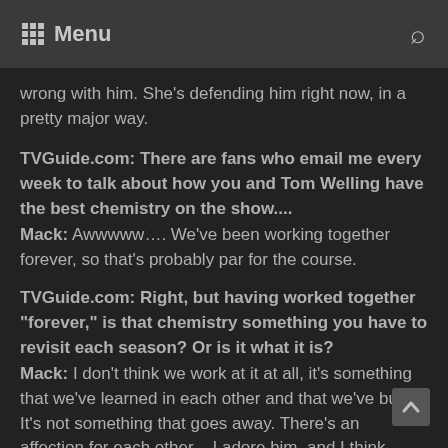Menu
wrong with him. She's defending him right now, in a pretty major way.
TVGuide.com: There are fans who email me every week to talk about how you and Tom Welling have the best chemistry on the show.... Mack: Awwwww…. We've been working together forever, so that's probably par for the course.
TVGuide.com: Right, but having worked together "forever," is that chemistry something you have to revisit each season? Or is it what it is? Mack: I don't think we work at it at all, it's something that we've learned in each other and that we've built. It's not something that goes away. There's an affection for each other – I adore him, and I think